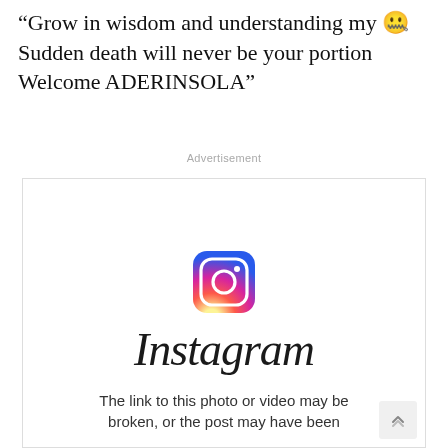“Grow in wisdom and understanding my 😐Sudden death will never be your portion Welcome ADERINSOLA”
Advertisement
[Figure (screenshot): Instagram embed placeholder showing the Instagram logo icon and wordmark, with text: The link to this photo or video may be broken, or the post may have been removed.]